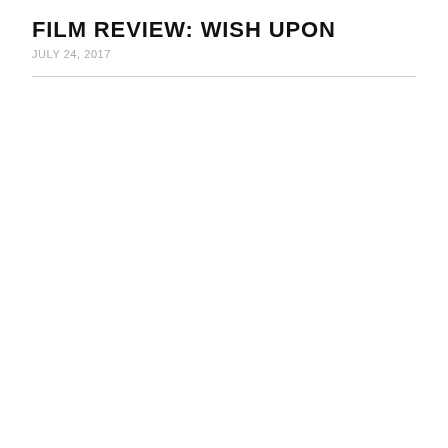FILM REVIEW: WISH UPON
JULY 24, 2017